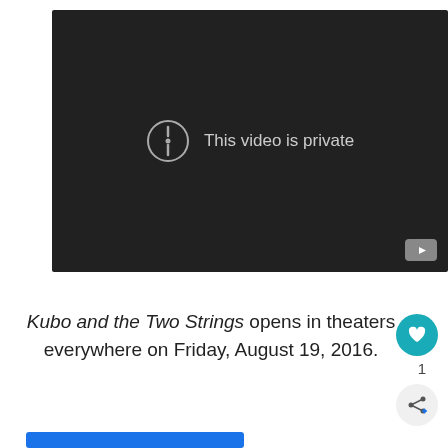[Figure (screenshot): Dark YouTube video player showing 'This video is private' message with exclamation icon and YouTube logo badge in bottom right corner]
Kubo and the Two Strings opens in theaters everywhere on Friday, August 19, 2016.